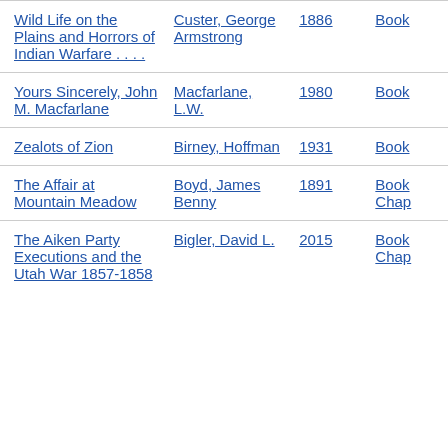| Title | Author | Year | Type |
| --- | --- | --- | --- |
| Wild Life on the Plains and Horrors of Indian Warfare . . . . | Custer, George Armstrong | 1886 | Book |
| Yours Sincerely, John M. Macfarlane | Macfarlane, L.W. | 1980 | Book |
| Zealots of Zion | Birney, Hoffman | 1931 | Book |
| The Affair at Mountain Meadow | Boyd, James Benny | 1891 | Book Chap |
| The Aiken Party Executions and the Utah War 1857-1858 | Bigler, David L. | 2015 | Book Chap |